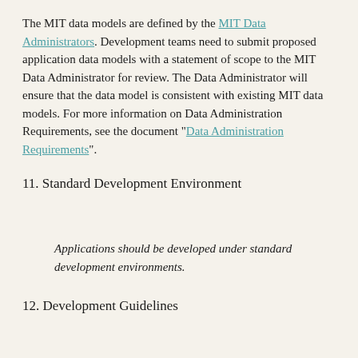The MIT data models are defined by the MIT Data Administrators. Development teams need to submit proposed application data models with a statement of scope to the MIT Data Administrator for review. The Data Administrator will ensure that the data model is consistent with existing MIT data models. For more information on Data Administration Requirements, see the document "Data Administration Requirements".
11. Standard Development Environment
Applications should be developed under standard development environments.
12. Development Guidelines